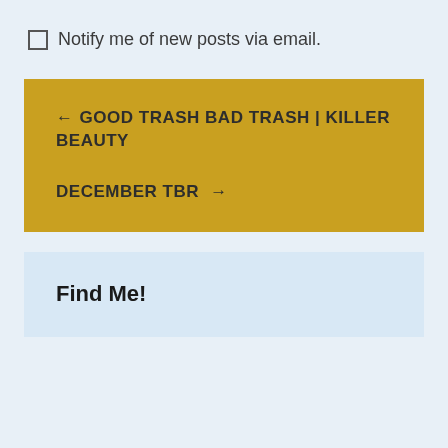Notify me of new posts via email.
← GOOD TRASH BAD TRASH | KILLER BEAUTY
DECEMBER TBR →
Find Me!